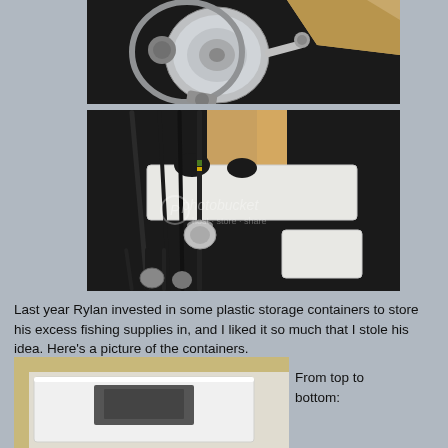[Figure (photo): Close-up photo of a chrome fishing reel on a dark surface with a wooden board visible]
[Figure (photo): Photo of multiple fishing rods stored in white foam/styrofoam holders mounted on a dark shelf, with a Photobucket watermark]
Last year Rylan invested in some plastic storage containers to store his excess fishing supplies in, and I liked it so much that I stole his idea. Here's a picture of the containers.
[Figure (photo): Partial photo of plastic storage containers in a wooden cabinet]
From top to bottom: